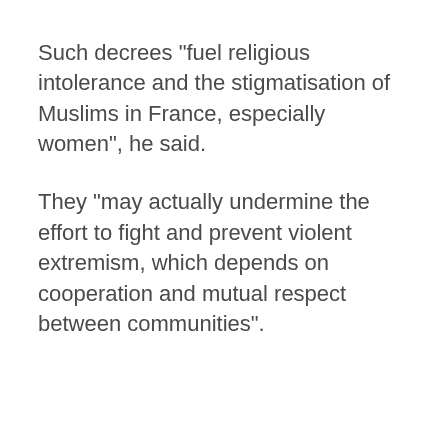Such decrees "fuel religious intolerance and the stigmatisation of Muslims in France, especially women", he said.
They "may actually undermine the effort to fight and prevent violent extremism, which depends on cooperation and mutual respect between communities".